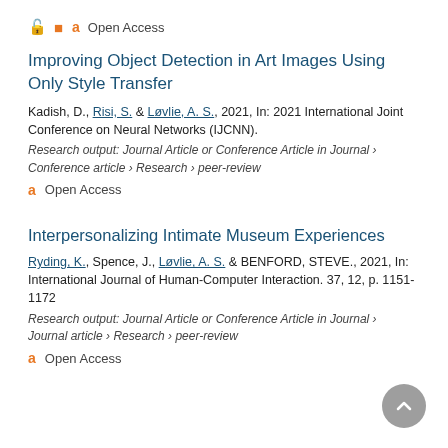Open Access
Improving Object Detection in Art Images Using Only Style Transfer
Kadish, D., Risi, S. & Løvlie, A. S., 2021, In: 2021 International Joint Conference on Neural Networks (IJCNN).
Research output: Journal Article or Conference Article in Journal › Conference article › Research › peer-review
Open Access
Interpersonalizing Intimate Museum Experiences
Ryding, K., Spence, J., Løvlie, A. S. & BENFORD, STEVE., 2021, In: International Journal of Human-Computer Interaction. 37, 12, p. 1151-1172
Research output: Journal Article or Conference Article in Journal › Journal article › Research › peer-review
Open Access